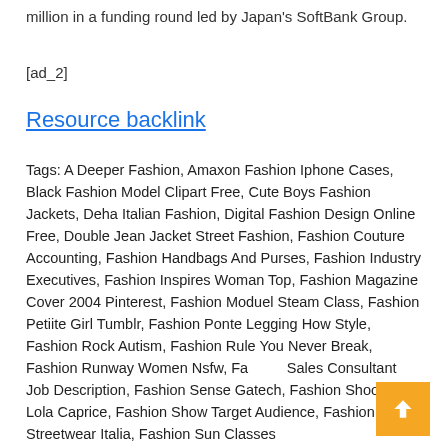million in a funding round led by Japan's SoftBank Group.
[ad_2]
Resource backlink
Tags: A Deeper Fashion, Amaxon Fashion Iphone Cases, Black Fashion Model Clipart Free, Cute Boys Fashion Jackets, Deha Italian Fashion, Digital Fashion Design Online Free, Double Jean Jacket Street Fashion, Fashion Couture Accounting, Fashion Handbags And Purses, Fashion Industry Executives, Fashion Inspires Woman Top, Fashion Magazine Cover 2004 Pinterest, Fashion Moduel Steam Class, Fashion Petiite Girl Tumblr, Fashion Ponte Legging How Style, Fashion Rock Autism, Fashion Rule You Never Break, Fashion Runway Women Nsfw, Fa... Sales Consultant Job Description, Fashion Sense Gatech, Fashion Shoot With Lola Caprice, Fashion Show Target Audience, Fashion Streetwear Italia, Fashion Sun Glasses